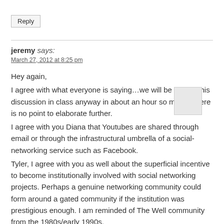Reply
jeremy says:
March 27, 2012 at 8:25 pm
Hey again,
I agree with what everyone is saying…we will be having this discussion in class anyway in about an hour so maybe there is no point to elaborate further.
I agree with you Diana that Youtubes are shared through email or through the infrastructural umbrella of a social-networking service such as Facebook.
Tyler, I agree with you as well about the superficial incentive to become institutionally involved with social networking projects. Perhaps a genuine networking community could form around a gated community if the institution was prestigious enough. I am reminded of The Well community from the 1980s/early 1990s.
http://www.well.com/ The Whitney might make for a good online community. Saatchi and Saatchi tried to create a social networking